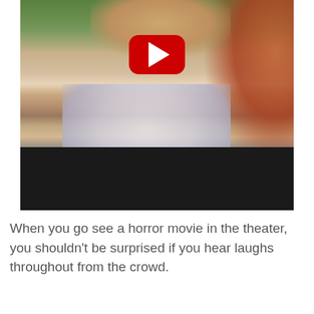[Figure (screenshot): A YouTube video thumbnail showing a woman screaming outdoors with a YouTube play button overlay. The bottom portion of the video frame is dark/black.]
When you go see a horror movie in the theater, you shouldn't be surprised if you hear laughs throughout from the crowd.